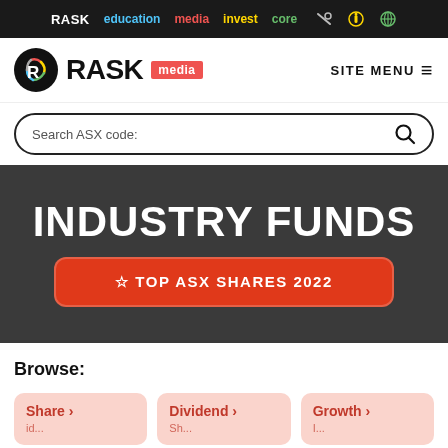RASK education media invest core
[Figure (logo): RASK media logo with colorful circular icon]
SITE MENU
Search ASX code:
INDUSTRY FUNDS
TOP ASX SHARES 2022
Browse:
Share ›
Dividend ›
Growth ›